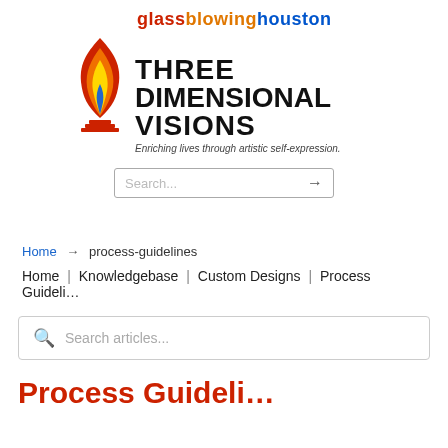[Figure (logo): Glassblowing Houston Three Dimensional Visions logo with flame graphic. Text reads 'glassblowinghouston' in red/orange/blue, 'THREE DIMENSIONAL VISIONS' in bold black, tagline 'Enriching lives through artistic self-expression.']
Search...
Home → process-guidelines
Home | Knowledgebase | Custom Designs | Process Guidelines
Search articles...
Process Guideli...